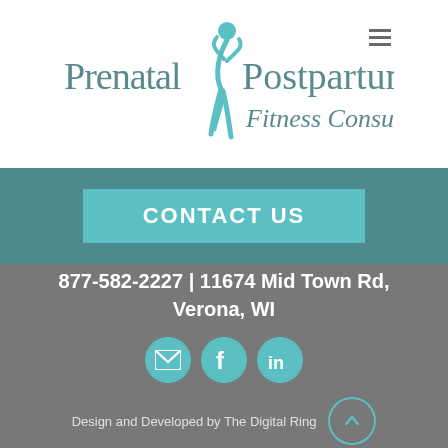[Figure (logo): Prenatal & Postpartum Fitness Consulting logo with a teal silhouette figure]
CONTACT US
877-582-2227 | 11674 Mid Town Rd, Verona, WI
[Figure (infographic): Three circular teal social media icons: email/envelope, Facebook f, LinkedIn in]
Design and Developed by The Digital Ring